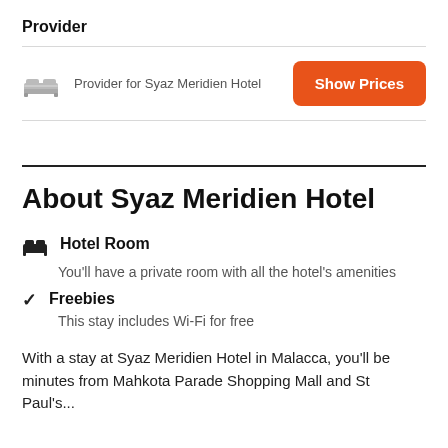Provider
Provider for Syaz Meridien Hotel
Show Prices
About Syaz Meridien Hotel
Hotel Room
You'll have a private room with all the hotel's amenities
Freebies
This stay includes Wi-Fi for free
With a stay at Syaz Meridien Hotel in Malacca, you'll be minutes from Mahkota Parade Shopping Mall and St Paul's...